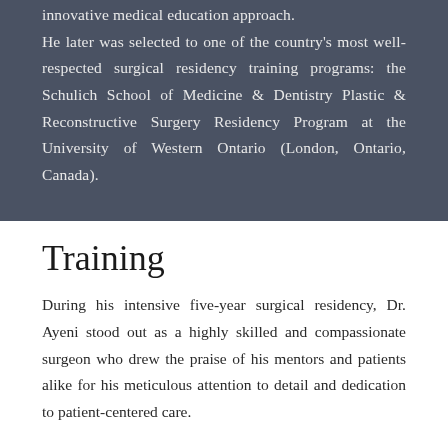innovative medical education approach. He later was selected to one of the country's most well-respected surgical residency training programs: the Schulich School of Medicine & Dentistry Plastic & Reconstructive Surgery Residency Program at the University of Western Ontario (London, Ontario, Canada).
Training
During his intensive five-year surgical residency, Dr. Ayeni stood out as a highly skilled and compassionate surgeon who drew the praise of his mentors and patients alike for his meticulous attention to detail and dedication to patient-centered care.